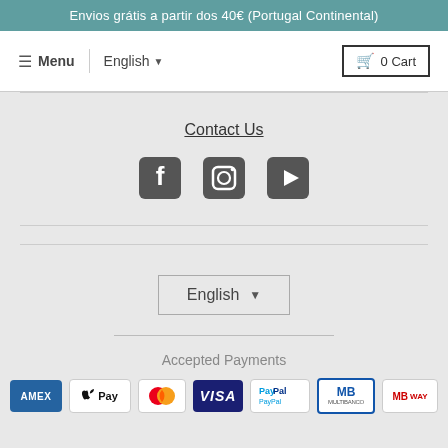Envios grátis a partir dos 40€ (Portugal Continental)
≡ Menu | English ▾ | 🛒 0 Cart
Contact Us
[Figure (illustration): Social media icons: Facebook, Instagram, YouTube]
English ▾
Accepted Payments
[Figure (illustration): Payment method logos: AMEX, Apple Pay, Mastercard, VISA, PayPal, Multibanco, MB Way]